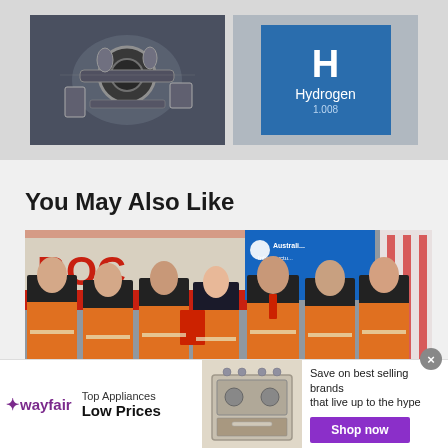[Figure (photo): Top strip with two images: left showing engine/machinery, right showing hydrogen element periodic table tile (H, Hydrogen, 1.008) on blue background]
You May Also Like
[Figure (photo): Group photo of seven people wearing orange high-visibility vests standing in front of a BOC gas tanker and Australian Infrastructure banner]
[Figure (other): Wayfair advertisement: Top Appliances, Low Prices, Save on best selling brands that live up to the hype, Shop now button, with image of kitchen range/stove]
infolinks